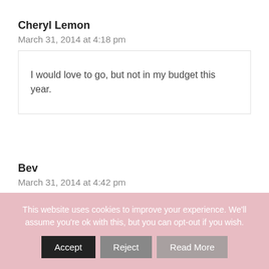Cheryl Lemon
March 31, 2014 at 4:18 pm
I would love to go, but not in my budget this year.
Bev
March 31, 2014 at 4:42 pm
This website uses cookies to improve your experience. We'll assume you're ok with this, but you can opt-out if you wish.